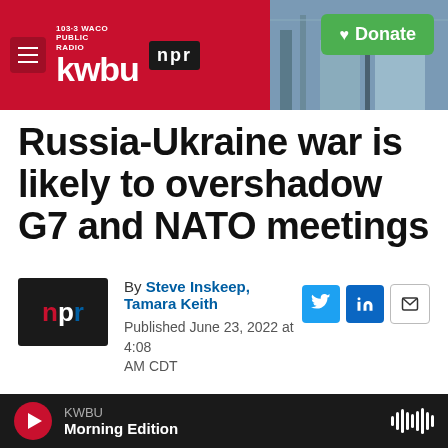103.3 KWBU Waco Public Radio / NPR — Donate
Russia-Ukraine war is likely to overshadow G7 and NATO meetings
By Steve Inskeep, Tamara Keith
Published June 23, 2022 at 4:08 AM CDT
LISTEN • 7:01
KWBU Morning Edition